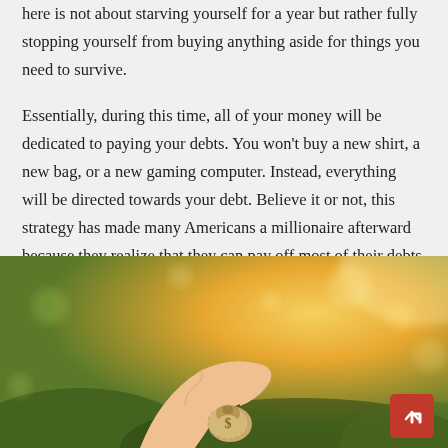here is not about starving yourself for a year but rather fully stopping yourself from buying anything aside for things you need to survive.
Essentially, during this time, all of your money will be dedicated to paying your debts. You won't buy a new shirt, a new bag, or a new gaming computer. Instead, everything will be directed towards your debt. Believe it or not, this strategy has made many Americans a millionaire afterward because they realize that they can pay off most of their debts in under a year.
[Figure (photo): A hand holding a small burlap money bag with a dollar sign, against a warm golden bokeh background with sunlight.]